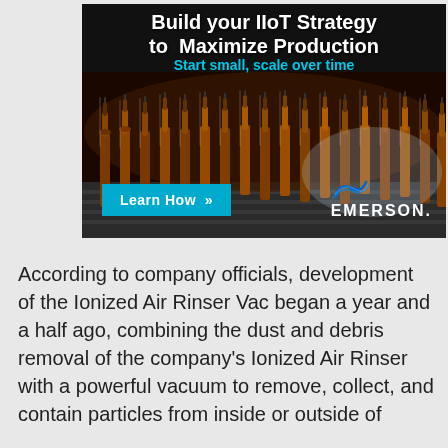[Figure (photo): Emerson advertisement banner showing rows of brown glass bottles on a conveyor belt in an industrial setting. Headline reads 'Build your IIoT Strategy to Maximize Production' with subtext 'Start small, scale over time'. Contains a cyan 'Learn How »' button and the Emerson logo.]
According to company officials, development of the Ionized Air Rinser Vac began a year and a half ago, combining the dust and debris removal of the company's Ionized Air Rinser with a powerful vacuum to remove, collect, and contain particles from inside or outside of